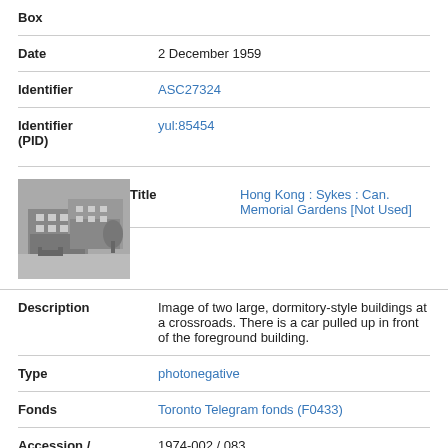| Box |  |
| Date | 2 December 1959 |
| Identifier | ASC27324 |
| Identifier (PID) | yul:85454 |
| Title | Hong Kong : Sykes : Can. Memorial Gardens [Not Used] |
| Description | Image of two large, dormitory-style buildings at a crossroads. There is a car pulled up in front of the foreground building. |
| Type | photonegative |
| Fonds | Toronto Telegram fonds (F0433) |
| Accession / | 1974-002 / 083 |